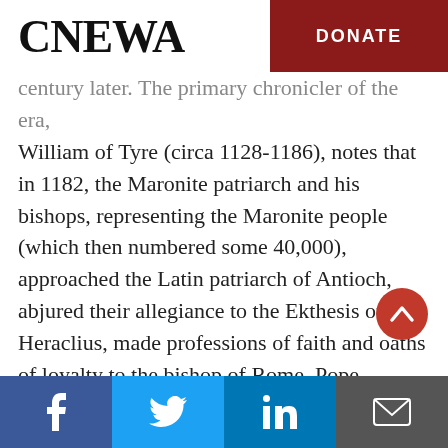CNEWA | DONATE
century later. The primary chronicler of the era, William of Tyre (circa 1128-1186), notes that in 1182, the Maronite patriarch and his bishops, representing the Maronite people (which then numbered some 40,000), approached the Latin patriarch of Antioch, abjured their allegiance to the Ekthesis of Heraclius, made professions of faith and oaths of loyalty to the bishop of Rome, Pope Alexander III.
Traditional Maronite histories dispute William's account; the Maronites had nothing to renounce.
Facebook | Twitter | LinkedIn | Email